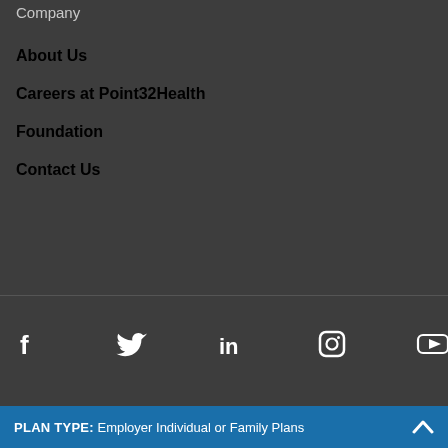Company
About Us
Careers at Point32Health
Foundation
Contact Us
[Figure (infographic): Social media icons: Facebook, Twitter, LinkedIn, Instagram, YouTube]
PLAN TYPE: Employer Individual or Family Plans